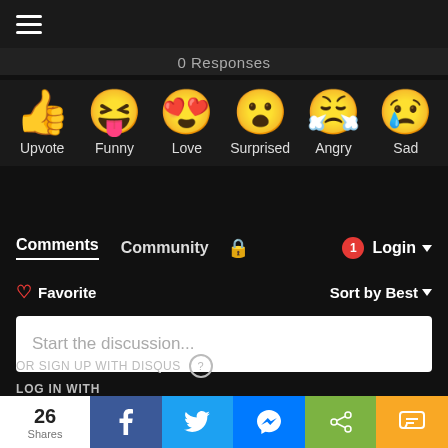☰ (hamburger menu)
0 Responses
[Figure (infographic): Six emoji reaction icons in a row: Upvote (thumbs up), Funny (laughing face with tongue), Love (heart eyes), Surprised (surprised face), Angry (angry crying face), Sad (sad face with tear). Each emoji is labeled below with its reaction name.]
Comments   Community   🔒   1   Login ▾
♡ Favorite   Sort by Best ▾
Start the discussion...
LOG IN WITH
[Figure (logo): Four social login icons: Disqus (D), Facebook (f), Twitter bird, Google (G) — all circular icons]
OR SIGN UP WITH DISQUS ?
26 Shares  [Facebook] [Twitter] [Messenger] [Share] [SMS]